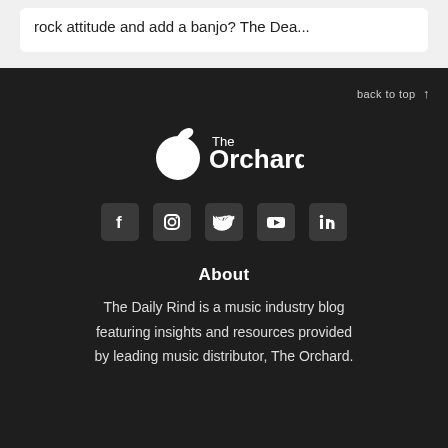rock attitude and add a banjo? The Dea...
back to top ↑
[Figure (logo): The Orchard logo — white circle with leaf above, text 'The Orchard' in white]
[Figure (infographic): Social media icons: Facebook, Instagram, Twitter, YouTube, LinkedIn — white icons on dark square backgrounds]
About
The Daily Rind is a music industry blog featuring insights and resources provided by leading music distributor, The Orchard.